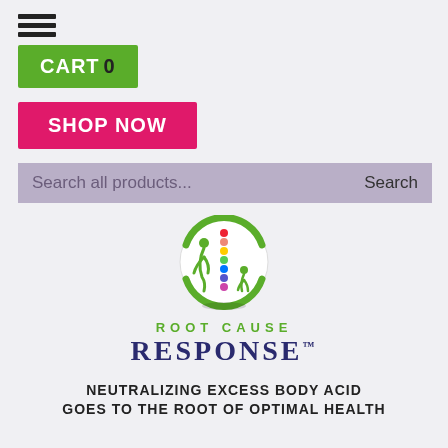[Figure (screenshot): Hamburger menu icon (three horizontal lines)]
CART 0
SHOP NOW
Search all products...  Search
[Figure (logo): Root Cause Response logo: circular emblem with colorful spine/chakra dots and two green human figures, with 'ROOT CAUSE RESPONSE' text below]
NEUTRALIZING EXCESS BODY ACID GOES TO THE ROOT OF OPTIMAL HEALTH